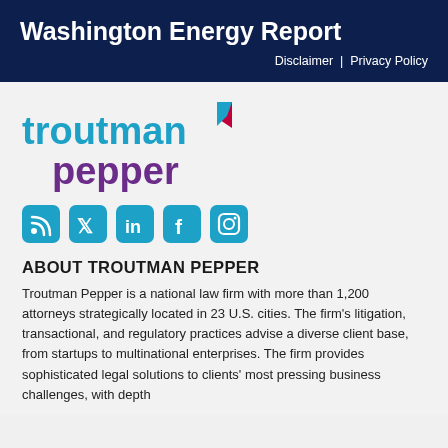Washington Energy Report
Disclaimer | Privacy Policy
[Figure (logo): Troutman Pepper law firm logo with blue and purple text]
[Figure (infographic): Social media icons: RSS feed, Twitter, LinkedIn, Facebook, Instagram]
ABOUT TROUTMAN PEPPER
Troutman Pepper is a national law firm with more than 1,200 attorneys strategically located in 23 U.S. cities. The firm's litigation, transactional, and regulatory practices advise a diverse client base, from startups to multinational enterprises. The firm provides sophisticated legal solutions to clients' most pressing business challenges, with depth